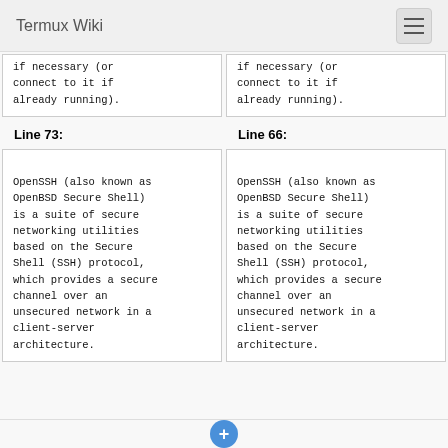Termux Wiki
if necessary (or connect to it if already running).
if necessary (or connect to it if already running).
Line 73:
Line 66:
OpenSSH (also known as OpenBSD Secure Shell) is a suite of secure networking utilities based on the Secure Shell (SSH) protocol, which provides a secure channel over an unsecured network in a client-server architecture.
OpenSSH (also known as OpenBSD Secure Shell) is a suite of secure networking utilities based on the Secure Shell (SSH) protocol, which provides a secure channel over an unsecured network in a client-server architecture.